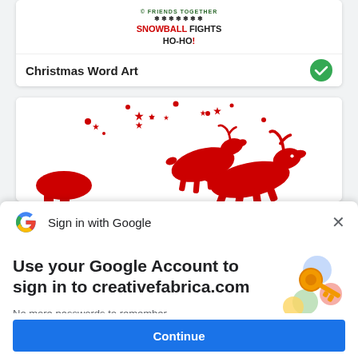[Figure (screenshot): Christmas Word Art product card showing decorative holiday text with green and red styling, with a green checkmark indicating selection]
Christmas Word Art
[Figure (illustration): Red silhouette illustration of two reindeer leaping among red stars]
[Figure (screenshot): Google Sign in with Google modal overlay with Google G logo, close X button, headline 'Use your Google Account to sign in to creativefabrica.com', subtext about no passwords, key illustration, and Continue button]
Sign in with Google
Use your Google Account to sign in to creativefabrica.com
No more passwords to remember. Signing in is fast, simple and secure.
Continue